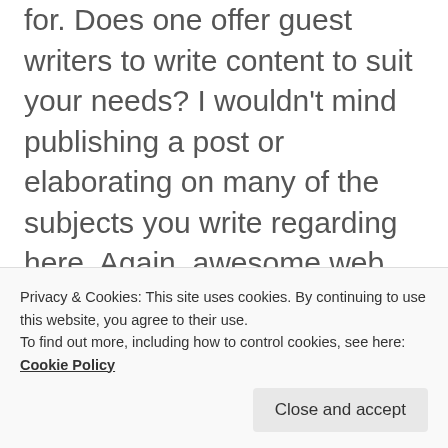for. Does one offer guest writers to write content to suit your needs? I wouldn't mind publishing a post or elaborating on many of the subjects you write regarding here. Again, awesome web log!
★ Like
Solomon Gee
Privacy & Cookies: This site uses cookies. By continuing to use this website, you agree to their use.
To find out more, including how to control cookies, see here: Cookie Policy
Close and accept